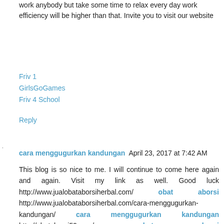work anybody but take some time to relax every day work efficiency will be higher than that. Invite you to visit our website
Friv 1
GirlsGoGames
Friv 4 School
Reply
cara menggugurkan kandungan   April 23, 2017 at 7:42 AM
This blog is so nice to me. I will continue to come here again and again. Visit my link as well. Good luck http://www.jualobataborsiherbal.com/ obat aborsi http://www.jualobataborsiherbal.com/cara-menggugurkan-kandungan/ cara menggugurkan kandungan http://obataborsi59.com/ obat aborsi http://obataborsi59.com/cara-menggugurkan-kandungan-dengan-cepat-dan-aman/ cara menggugurkan kandungan http://obattelatdatangbulan.info/ obat telat datang bulan